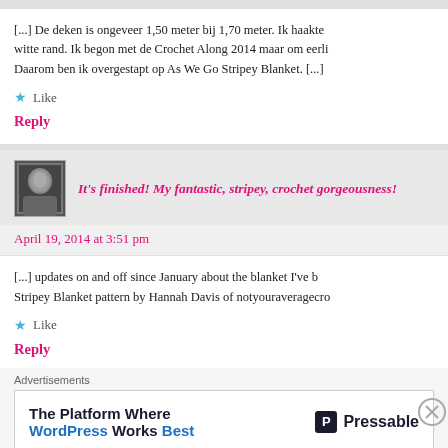[...] De deken is ongeveer 1,50 meter bij 1,70 meter. Ik haakte witte rand. Ik begon met de Crochet Along 2014 maar om eerli Daarom ben ik overgestapt op As We Go Stripey Blanket. [...]
Like
Reply
It's finished! My fantastic, stripey, crochet gorgeousness!
April 19, 2014 at 3:51 pm
[...] updates on and off since January about the blanket I've b Stripey Blanket pattern by Hannah Davis of notyouraveragecro
Like
Reply
Advertisements
[Figure (logo): Pressable advertisement: The Platform Where WordPress Works Best]